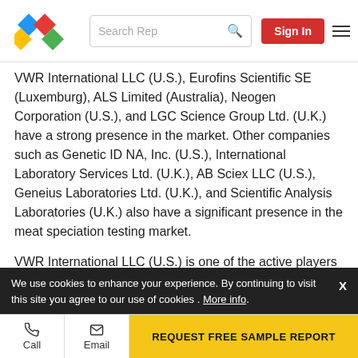Search Rep | Sign In
VWR International LLC (U.S.), Eurofins Scientific SE (Luxemburg), ALS Limited (Australia), Neogen Corporation (U.S.), and LGC Science Group Ltd. (U.K.) have a strong presence in the market. Other companies such as Genetic ID NA, Inc. (U.S.), International Laboratory Services Ltd. (U.K.), AB Sciex LLC (U.S.), Geneius Laboratories Ltd. (U.K.), and Scientific Analysis Laboratories (U.K.) also have a significant presence in the meat speciation testing market.
VWR International LLC (U.S.) is one of the active players in the meat speciation testing market; it is engaged in providing laboratory products, solutions, and services to the company's diversified business operations in various
We use cookies to enhance your experience. By continuing to visit this site you agree to our use of cookies . More info.
Call | Email | REQUEST FREE SAMPLE REPORT